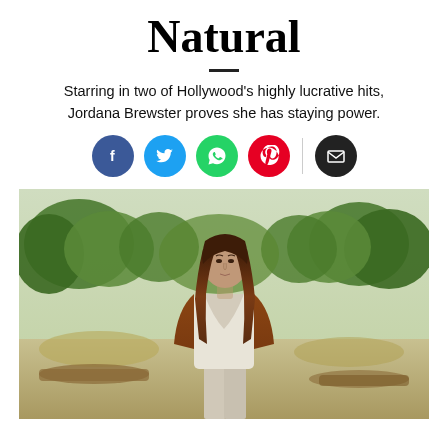Natural
Starring in two of Hollywood's highly lucrative hits, Jordana Brewster proves she has staying power.
[Figure (other): Social media share buttons: Facebook (blue), Twitter (cyan), WhatsApp (green), Pinterest (red), separator line, Email (black)]
[Figure (photo): Jordana Brewster standing outdoors in a natural setting with trees and dry grass in the background, wearing a brown leather jacket over a white top, with long dark hair.]